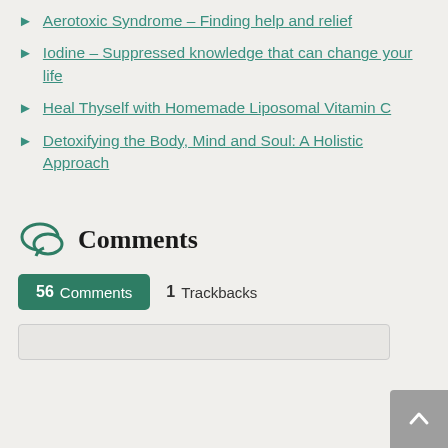Aerotoxic Syndrome – Finding help and relief
Iodine – Suppressed knowledge that can change your life
Heal Thyself with Homemade Liposomal Vitamin C
Detoxifying the Body, Mind and Soul: A Holistic Approach
Comments
56  Comments    1  Trackbacks